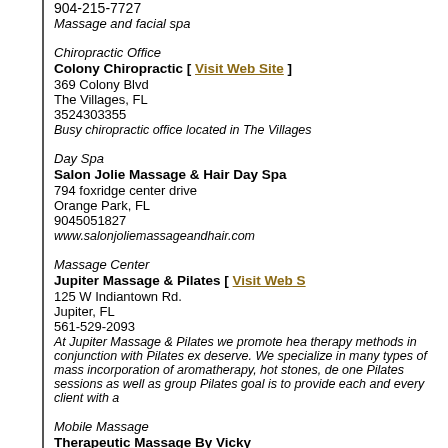904-215-7727
Massage and facial spa
Chiropractic Office
Colony Chiropractic [ Visit Web Site ]
369 Colony Blvd
The Villages, FL
3524303355
Busy chiropractic office located in The Villages
Day Spa
Salon Jolie Massage & Hair Day Spa
794 foxridge center drive
Orange Park, FL
9045051827
www.salonjoliemassageandhair.com
Massage Center
Jupiter Massage & Pilates [ Visit Web S
125 W Indiantown Rd.
Jupiter, FL
561-529-2093
At Jupiter Massage & Pilates we promote hea therapy methods in conjunction with Pilates ex deserve. We specialize in many types of mass incorporation of aromatherapy, hot stones, de one Pilates sessions as well as group Pilates goal is to provide each and every client with a
Mobile Massage
Therapeutic Massage By Vicky
20893 Haulover cove
lutz, FL